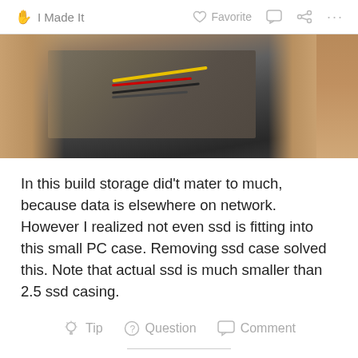I Made It   Favorite   Comment   Share   ...
[Figure (photo): Close-up photo of hands working on internal PC components with wires and circuit board visible]
In this build storage did't mater to much, because data is elsewhere on network. However I realized not even ssd is fitting into this small PC case. Removing ssd case solved this. Note that actual ssd is much smaller than 2.5 ssd casing.
Tip   Question   Comment
Step 5: Graphic Card